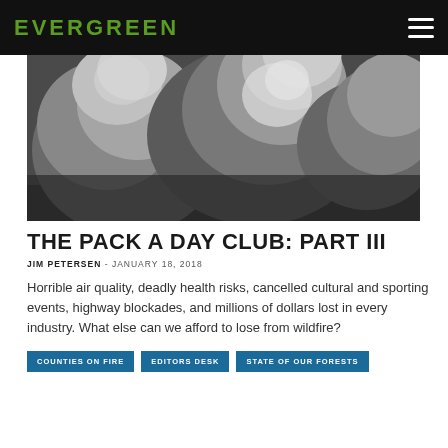EVERGREEN
[Figure (photo): Black and white aerial photograph of large wildfire smoke clouds billowing upward]
THE PACK A DAY CLUB: PART III
JIM PETERSEN - JANUARY 18, 2018
Horrible air quality, deadly health risks, cancelled cultural and sporting events, highway blockades, and millions of dollars lost in every industry. What else can we afford to lose from wildfire?
COUNTIES ON FIRE
EDITORS DESK
STATE OF OUR FORESTS